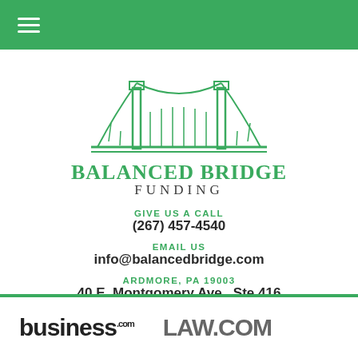Navigation menu (hamburger icon)
[Figure (logo): Balanced Bridge Funding logo: green suspension bridge illustration above the company name]
BALANCED BRIDGE FUNDING
GIVE US A CALL
(267) 457-4540
EMAIL US
info@balancedbridge.com
ARDMORE, PA 19003
40 E. Montgomery Ave., Ste 416
business.com  LAW.COM